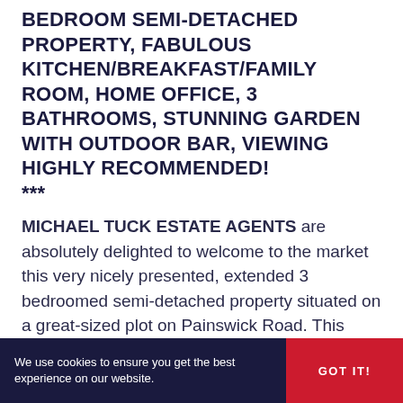BEDROOM SEMI-DETACHED PROPERTY, FABULOUS KITCHEN/BREAKFAST/FAMILY ROOM, HOME OFFICE, 3 BATHROOMS, STUNNING GARDEN WITH OUTDOOR BAR, VIEWING HIGHLY RECOMMENDED! ***
MICHAEL TUCK ESTATE AGENTS are absolutely delighted to welcome to the market this very nicely presented, extended 3 bedroomed semi-detached property situated on a great-sized plot on Painswick Road. This fabulous home has been much improved by the current owners and perfectly blends open-plan social family living with
We use cookies to ensure you get the best experience on our website. GOT IT!